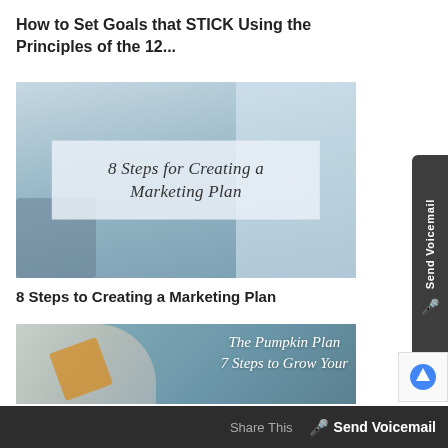How to Set Goals that STICK Using the Principles of the 12...
[Figure (photo): Blog post thumbnail for '8 Steps for Creating a Marketing Plan' — photo of two people in an office with an overlay text panel showing the article title in cursive script]
8 Steps to Creating a Marketing Plan
[Figure (photo): Blog post thumbnail — muted teal background with a person writing at a desk, cursive text overlay reading 'The Pumpkin Plan 7 Steps to Grow Your...']
Share This  🎤 Send Voicemail